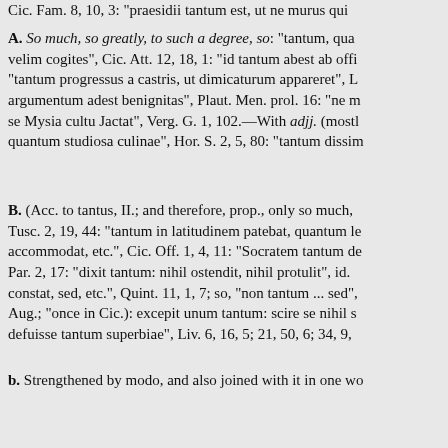Cic. Fam. 8, 10, 3: "praesidii tantum est, ut ne murus qui…
A. So much, so greatly, to such a degree, so: "tantum, qua… velim cogites", Cic. Att. 12, 18, 1: "id tantum abest ab offi… "tantum progressus a castris, ut dimicaturum appareret", L… argumentum adest benignitas", Plaut. Men. prol. 16: "ne m… se Mysia cultu Jactat", Verg. G. 1, 102.—With adjj. (most… quantum studiosa culinae", Hor. S. 2, 5, 80: "tantum dissir…
B. (Acc. to tantus, II.; and therefore, prop., only so much, … Tusc. 2, 19, 44: "tantum in latitudinem patebat, quantum le… accommodat, etc.", Cic. Off. 1, 4, 11: "Socratem tantum de… Par. 2, 17: "dixit tantum: nihil ostendit, nihil protulit", id. … constat, sed, etc.", Quint. 11, 1, 7; so, "non tantum ... sed"… Aug.; "once in Cic.): excepit unum tantum: scire se nihil s… defuisse tantum superbiae", Liv. 6, 16, 5; 21, 50, 6; 34, 9, …
b. Strengthened by modo, and also joined with it in one wo… populariter annum tantummodo solis, id est unius astri red… tantummodo potestatem gustandi feceris", id. Rep. 2, 28, 5… ac summo pectore exstare (ut possent)", Caes. B. C. 1, 62:… praeterea quicquam, etc.", Suet. Tib. 11 et saep.: "neque eu… tantummodo promota castra, sed etiam ... in campos delata… pellendum Hispaniā Hasdrubalem", id. 21, 32, 4; so, "non… tantummodo ... sed ... quoque", Vell. 2, 110, 5: "non tantum… only (but much more), Ov. Am. 1, 4, 63: cf.; "rem atrocem…